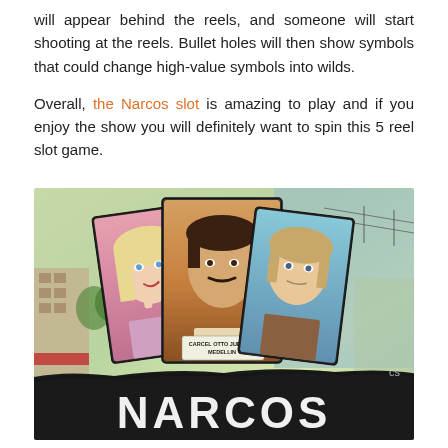will appear behind the reels, and someone will start shooting at the reels. Bullet holes will then show symbols that could change high-value symbols into wilds.

Overall, the Narcos slot is amazing to play and if you enjoy the show you will definitely want to spin this 5 reel slot game.
[Figure (illustration): Promotional image for the Narcos slot game showing three illustrated character cards (a blonde woman, a mustachioed man in the center, and a third man on the right) against a stylized cityscape background. The bottom shows a black brushstroke banner with the word NARCOS in large white letters. A card label reads CARCEL OTTO JUDICIAL MEDELLIN.]